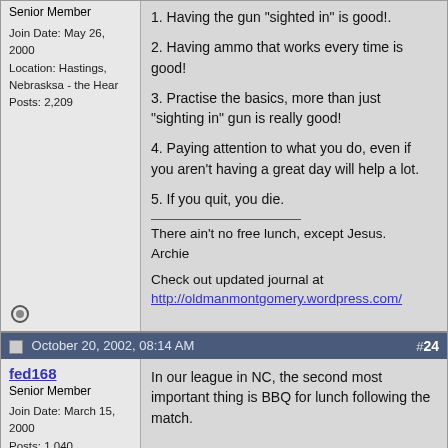Senior Member
Join Date: May 26, 2000
Location: Hastings, Nebrasksa - the Hear
Posts: 2,209
1. Having the gun "sighted in" is good!.
2. Having ammo that works every time is good!
3. Practise the basics, more than just "sighting in" gun is really good!
4. Paying attention to what you do, even if you aren't having a great day will help a lot.
5. If you quit, you die.
There ain't no free lunch, except Jesus.
Archie
Check out updated journal at http://oldmanmontgomery.wordpress.com/
October 20, 2002, 08:14 AM  #24
fed168
Senior Member
Join Date: March 15, 2000
Posts: 1,040
In our league in NC, the second most important thing is BBQ for lunch following the match.